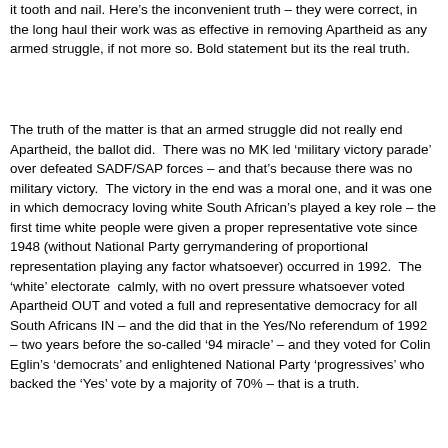it tooth and nail. Here's the inconvenient truth – they were correct, in the long haul their work was as effective in removing Apartheid as any armed struggle, if not more so. Bold statement but its the real truth.
The truth of the matter is that an armed struggle did not really end Apartheid, the ballot did.  There was no MK led 'military victory parade' over defeated SADF/SAP forces – and that's because there was no military victory.  The victory in the end was a moral one, and it was one in which democracy loving white South African's played a key role – the first time white people were given a proper representative vote since 1948 (without National Party gerrymandering of proportional representation playing any factor whatsoever) occurred in 1992.  The 'white' electorate  calmly, with no overt pressure whatsoever voted Apartheid OUT and voted a full and representative democracy for all South Africans IN – and the did that in the Yes/No referendum of 1992 – two years before the so-called '94 miracle' – and they voted for Colin Eglin's 'democrats' and enlightened National Party 'progressives' who backed the 'Yes' vote by a majority of 70% – that is a truth.